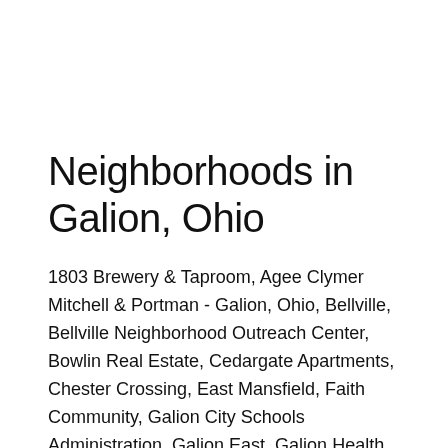Neighborhoods in Galion, Ohio
1803 Brewery & Taproom, Agee Clymer Mitchell & Portman - Galion, Ohio, Bellville, Bellville Neighborhood Outreach Center, Bowlin Real Estate, Cedargate Apartments, Chester Crossing, East Mansfield, Faith Community, Galion City Schools Administration, Galion East, Galion Health Department, Galion High School, LEAGUE OF RIDERS MOTORCYCLE CLUB - Galion, Ohio Charter, Locust Corners Bull Food & Deli…